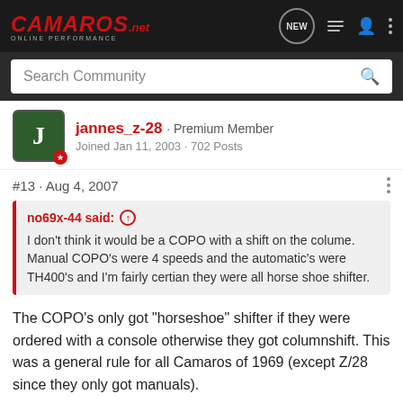Camaros.net Online Performance - Navigation bar
Search Community
jannes_z-28 · Premium Member
Joined Jan 11, 2003 · 702 Posts
#13 · Aug 4, 2007
no69x-44 said: ↑
I don't think it would be a COPO with a shift on the colume. Manual COPO's were 4 speeds and the automatic's were TH400's and I'm fairly certian they were all horse shoe shifter.
The COPO's only got "horseshoe" shifter if they were ordered with a console otherwise they got columnshift. This was a general rule for all Camaros of 1969 (except Z/28 since they only got manuals).